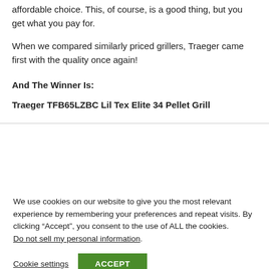affordable choice. This, of course, is a good thing, but you get what you pay for.
When we compared similarly priced grillers, Traeger came first with the quality once again!
And The Winner Is:
Traeger TFB65LZBC Lil Tex Elite 34 Pellet Grill
We use cookies on our website to give you the most relevant experience by remembering your preferences and repeat visits. By clicking “Accept”, you consent to the use of ALL the cookies. Do not sell my personal information.
Cookie settings  ACCEPT